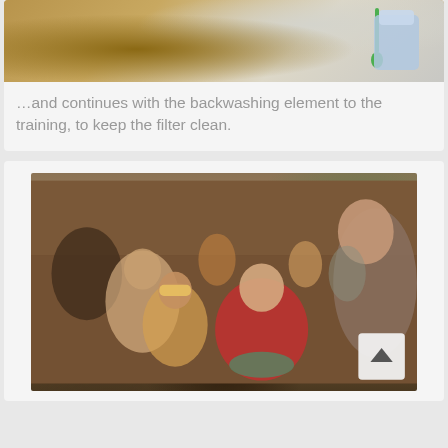[Figure (photo): Close-up photo of wooden surface with a green spoon and blue container visible, related to water filter backwashing training]
…and continues with the backwashing element to the training, to keep the filter clean.
[Figure (photo): Group of people gathered indoors around a woman in a red top demonstrating hand-washing or filter cleaning technique in a bowl, with villagers watching, in a wooden building]